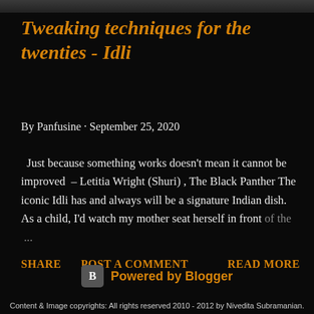Tweaking techniques for the twenties - Idli
By Panfusine · September 25, 2020
Just because something works doesn't mean it cannot be improved  – Letitia Wright (Shuri) , The Black Panther The iconic Idli has and always will be a signature Indian dish. As a child, I'd watch my mother seat herself in front of the ...
SHARE   POST A COMMENT   READ MORE
[Figure (logo): Powered by Blogger logo with orange text]
Content & Image copyrights: All rights reserved 2010 - 2012 by Nivedita Subramanian.